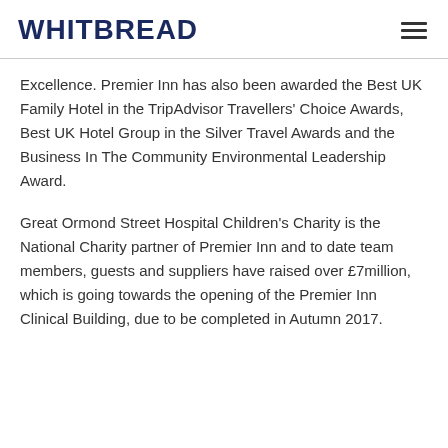WHITBREAD
Excellence. Premier Inn has also been awarded the Best UK Family Hotel in the TripAdvisor Travellers' Choice Awards, Best UK Hotel Group in the Silver Travel Awards and the Business In The Community Environmental Leadership Award.
Great Ormond Street Hospital Children's Charity is the National Charity partner of Premier Inn and to date team members, guests and suppliers have raised over £7million, which is going towards the opening of the Premier Inn Clinical Building, due to be completed in Autumn 2017.